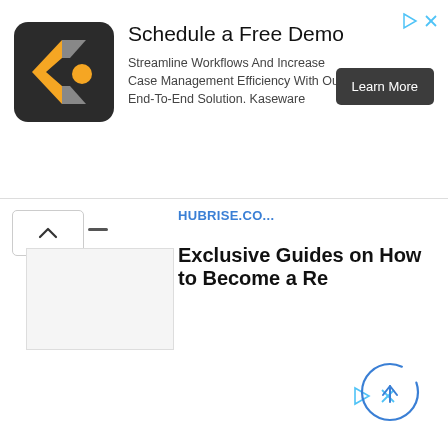[Figure (screenshot): Advertisement banner for Kaseware with logo, headline 'Schedule a Free Demo', body text, and 'Learn More' button with ad icons]
Exclusive Guides on How to Become a Re
[Figure (other): Ad icons (play triangle and X close button) in teal/blue color]
[Figure (other): Loading spinner circle with up arrow icon in blue, bottom right corner]